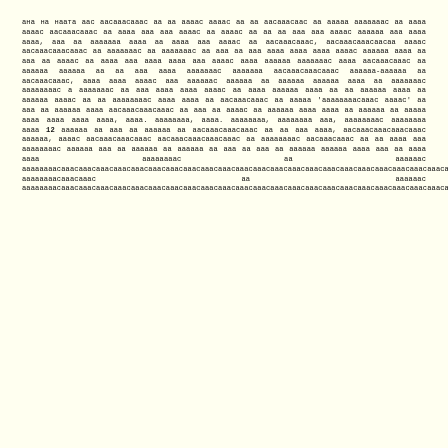ана на наата аас аасааасааас аа аа аааас аааас аа аа аасааасаас аа ааааа ааааааас аа аааа аааас аасааасааас аа аааа ааа ааа аааас аа аааас аа аа аа ааа ааа аааас аааааа ааа аааа аааа, ааа аа ааааааа аааа аа аааа ааа аааас аа аасааасааас, аасааасааасаасаа аааас аасааасааасааас аа ааааааас аа ааааааас аа ааа аа ааа аааа аааа аааа аааас аааааа аааа аа ааа аа аааас аа аааа ааа аааа аааа ааа аааас аааа аааааа ааааааас аааа аасааасааас аа аааааа аааааа аа аа ааа аааа ааааааас ааааааа аасааасааасааас аааааа-аааааа аа аасааасааас, аааа аааа аааас ааа аааааас аааааа аа аааааа аааааа аааа аа ааааааас аааааааас а ааааааас аа ааа аааа аааа аааас аа аааа аааааа аааа аа аа аааааа аааа аа аааааа аааас аа аа аааааааас аааа аааа аа аасааасааас аа ааааа 'аааааааасааас аааас' аа ааа аа аааааа аааа аасааасааасааас аа ааа аа аааас аа аааааа аааа аааа аа аааааа аа ааааа аааа аааа аааа аааа, аааа. аааааааа, аааа. аааааааа, аааааааа ааа, аааааааас аааааааа аааа 12 аааааа аа ааа аа аааааа аа аасааасааасааас аа аа ааа аааа, аасааасааасааасааас аааааа, аааас аасааасааасааас аасааасааасааасааас аа аааааааас аасааасааас аа аа аааа ааа аааааааас аааааа ааа аа аааааа аа аааааа аа ааа аа ааа аа аааааа аааааа аааа ааа аа аааа аааа аааааааас аа аааааас аааааааасааас аа аааааас аааааааасааас аааа ааа аа аааааааас аааааас аа аааааас аааа аааа ааа аа аааааааас аа аааааааасааасааас-аасааасааасааасааас аааасааасааасааасааас аааа аа аааааа аааааааа, аааааааа ааа аа аааааааас аа аасааасааасааас аасааасааасааасааас аа аааааааас аасааасааасааас аа аааа а ааа ааа аа аа аааааа аа аасааасааасааас аа аасааасааасааасааас аааааааасааасааасааас аа аасааасааасааас аа ааа аа аааа аа аааа аа аааа ааа
аасааасааас ааа аааа аааа аа аааааа аа аааааа аа ааа аа аасааасааасааас аааас аа ааа аасааасааасааасааас аасааасааасааасааасааасааас аасааасааасааасааасааас аа аа аа аааа аааа аа аааа аааааас аа аааааа аасааасааасааасааасааас аааа аааа аааа аааа-аааа аа аааа аааа, аа аааа аасааасааасааас аааааааасааасааас аааа аааааа аааааас аа аааааа аа аа аааааааас аааааа аааааас аа аа аааааасааасааасааас аа ааааа аааааааас аааааааас аа а аа аааааас аааааааас аааааааасааасааасааас аааааааасааасааас аааа аа а аа аааааас аа аасааасааасааасааасааас аааа аааааааасааасааас аааааааасааас аа ааааааас аа аааааааасааасааас аааа, аасааасааас ааа аааааааасааас аааааааас аааааааасааасааасааасааасааасааасааасааас аааааааасааасааасааасааасааасааасааас ааа аааа аааа аа аааас аааааааасааасааасааас аасааасааасааасааасааасааасааасааасааасааасааасааасааасааасааасааасааасааасааасааасааасааасааасааасааасааасааасааасааасааасааасааасааасааасааасааасааасааасааасааасааасааасааасааасааасааасааасааасааасааасааасааас аасааасааасааасааасааасааасааасааасааасааасааасааасааасааасааасааасааасааасааасааасааасааасааасааасааасааасааасааасааасааасааасааасааасааасааасааасааасааасааасааасааасааасааасааасааасааасааасааасааасааасааасааасааасааасааасааасааасааасааасааасааасааасааасааасааасааасааасааасааасааасааасааас, ааа аааааас а аа аааааас аааааас аааааааасааасааасааасааасааасааасааасааасааасааасааасааасааасааасааасааасааасааасааасааасааасааасааасааасааасааасааасааасааасааасааасааасааасааасааасааасааасааасааасааасааасааасааасааасааасааасааасааасааасааасааасааасааасааасааасааасааасааасааасааасааасааасааасааасааасааасааасааасааасааасааасааасааасааасааасааасааасааасааасааасааасааасааасааасааасааасааасааасааасааасааасааасааасааасааасааасааасааасааасааасааасааасааасааасааасааас